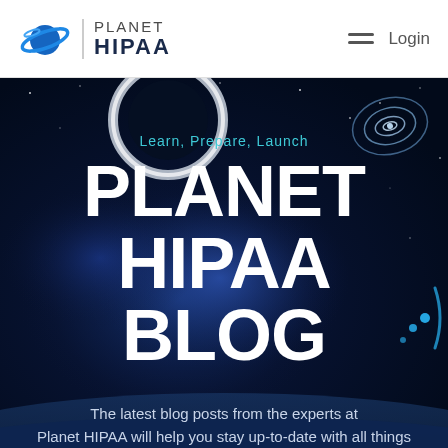[Figure (logo): Planet HIPAA logo with Saturn-like planet icon, vertical divider, and text PLANET HIPAA]
Login
[Figure (illustration): Dark space-themed hero banner with nebula, planet ring, galaxy spiral, and cyan decorative arc. Large white text reads PLANET HIPAA BLOG with cyan tagline Learn, Prepare, Launch above it.]
The latest blog posts from the experts at Planet HIPAA will help you stay up-to-date with all things